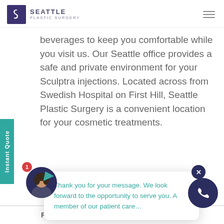[Figure (logo): Seattle Plastic Surgery logo with purple square and stylized S mark]
beverages to keep you comfortable while you visit us. Our Seattle office provides a safe and private environment for your Sculptra injections. Located across from Swedish Hospital on First Hill, Seattle Plastic Surgery is a convenient location for your cosmetic treatments.
[Figure (screenshot): Chat popup card with message: Thank you for your message. We look forward to the opportunity to serve you. A member of our patient care...]
Thank you for your message. We look forward to the opportunity to serve you. A member of our patient care...
ith Dr. rs, call us at the form
ove.
[Figure (photo): Chat widget with avatar of female consultant and red notification badge showing 1]
[Figure (other): Phone call button (dark navy circle with phone icon)]
FREQUENTLY ASKED QUESTIONS